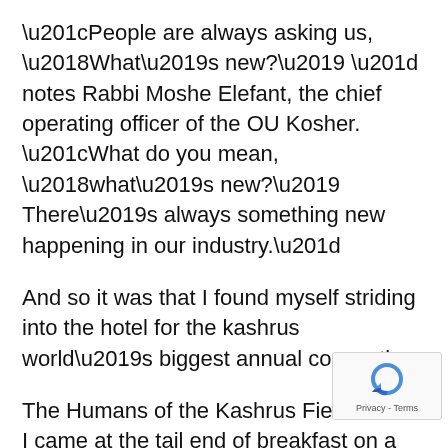“People are always asking us, ‘What’s new?’ ” notes Rabbi Moshe Elefant, the chief operating officer of the OU Kosher. “What do you mean, ‘what’s new?’ There’s always something new happening in our industry.”
And so it was that I found myself striding into the hotel for the kashrus world’s biggest annual convention.
The Humans of the Kashrus Field
I came at the tail end of breakfast on a Tuesday morning, as kashrus experts from dozens of groups scurried to begin the day of presentations.
“Who gives the hechsher on this place?” I